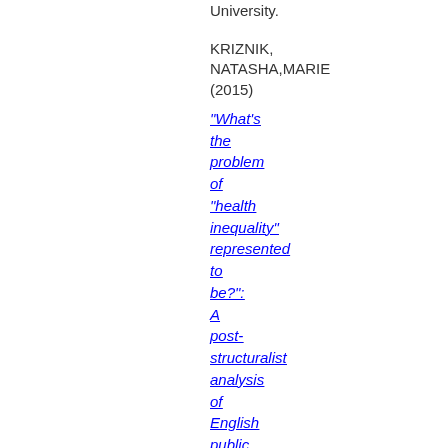University.
KRIZNIK, NATASHA,MARIE (2015)
“What’s the problem of “health inequality” represented to be?”: A post-structuralist analysis of English public health polic…